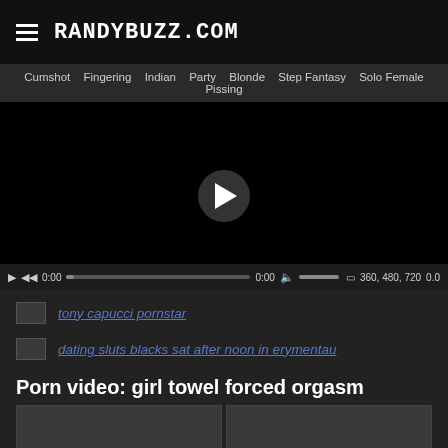RANDYBUZZ.COM
Cumshot  Fingering  Indian  Party  Blonde  Step Fantasy  Solo Female  Pissing
[Figure (screenshot): Video player with black screen, play button circle in center, and playback controls bar at bottom showing 0:00 timecodes and quality options 360, 480, 720]
tony capucci pornstar
dating sluts blacks sat after noon in erymentau
Porn video: girl towel forced orgasm
[Figure (photo): Partial thumbnail row of video screenshots]